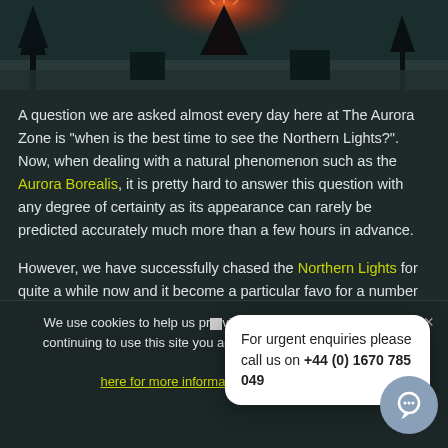[Figure (photo): Nighttime winter scene with glowing orange light (possibly campfire or tent) and snow-covered trees in background]
A question we are asked almost every day here at The Aurora Zone is "when is the best time to see the Northern Lights?". Now, when dealing with a natural phenomenon such as the Aurora Borealis, it is pretty hard to answer this question with any degree of certainty as its appearance can rarely be predicted accurately much more than a few hours in advance.
However, we have successfully chased the Northern Lights for quite a while now and it has become a particular favorite for a number of reasons.
For urgent enquiries please call us on +44 (0) 1670 785 049
We use cookies to help us provide a better service for you. By continuing to use this site you agree to the use of cookies.
here for more information
Got it!